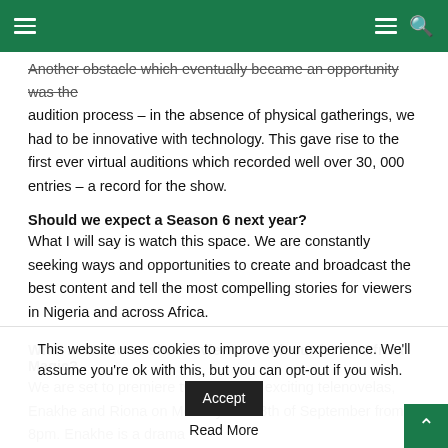Navigation header with hamburger menu and search icon
Another obstacle which eventually became an opportunity was the audition process – in the absence of physical gatherings, we had to be innovative with technology. This gave rise to the first ever virtual auditions which recorded well over 30, 000 entries – a record for the show.
Should we expect a Season 6 next year?
What I will say is watch this space. We are constantly seeking ways and opportunities to create and broadcast the best content and tell the most compelling stories for viewers in Nigeria and across Africa.
What new shows should viewers look out for on Africa Magic?
We are set to premiere two new and exciting telenovelas, Enakhe and Riona on Monday the 28th of September from 8pm. Enakhe is a drama
This website uses cookies to improve your experience. We'll assume you're ok with this, but you can opt-out if you wish. Accept
Read More